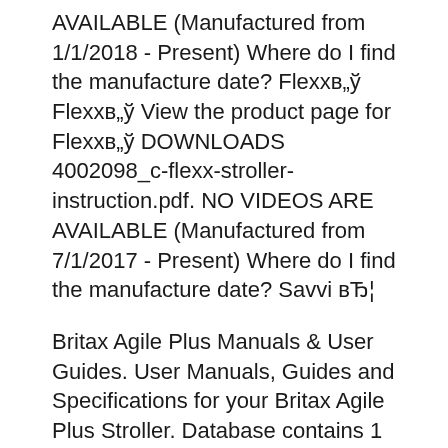AVAILABLE (Manufactured from 1/1/2018 - Present) Where do I find the manufacture date? Flexxв„ў Flexxв„ў View the product page for Flexxв„ў DOWNLOADS 4002098_c-flexx-stroller-instruction.pdf. NO VIDEOS ARE AVAILABLE (Manufactured from 7/1/2017 - Present) Where do I find the manufacture date? Savvi вЂ¦
Britax Agile Plus Manuals & User Guides. User Manuals, Guides and Specifications for your Britax Agile Plus Stroller. Database contains 1 Britax Agile Plus Manuals (available for free online viewing or downloading in PDF): User instructions . 28/09/2016В В· BRITAX B-READY 2017 Double Stroller